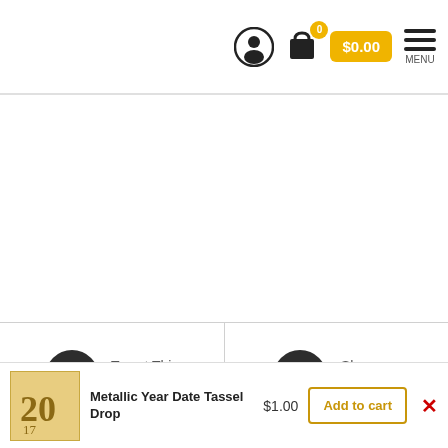0  $0.00  MENU
[Figure (screenshot): White empty product page area]
Tweet This Product
Share on Facebook
Pin This
[Figure (photo): Metallic Year Date Tassel Drop product thumbnail]
Metallic Year Date Tassel Drop  $1.00  Add to cart